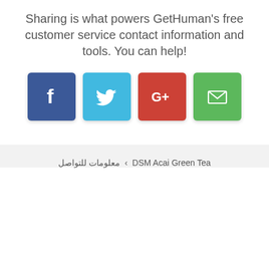Sharing is what powers GetHuman's free customer service contact information and tools. You can help!
[Figure (infographic): Four social sharing buttons: Facebook (dark blue, f icon), Twitter (light blue, bird icon), Google+ (red, G+ icon), Email (green, envelope icon)]
DSM Acai Green Tea › معلومات للتواصل